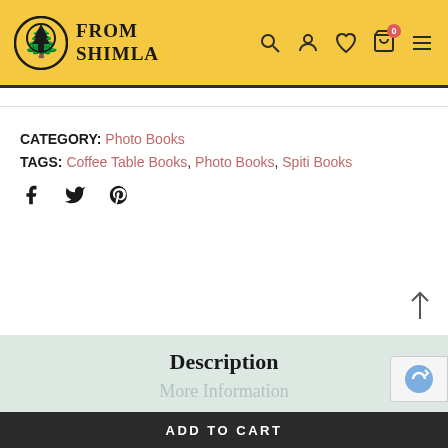From Shimla
CATEGORY: Photo Books
TAGS: Coffee Table Books, Photo Books, Spiti Books
[Figure (other): Social share icons: Facebook, Twitter, Pinterest]
Description
More Information
ADD TO CART